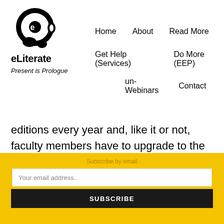[Figure (logo): eLiterate logo: black circular head silhouette with 'e' inside, followed by text 'eLiterate' below]
Home   About   Read More   Get Help (Services)   Do More (EEP)   un-Webinars   Contact
Present is Prologue
editions every year and, like it or not, faculty members have to upgrade to the newest edition sooner or later if they expect their students to
Subscribe by email
Your email address..
SUBSCRIBE